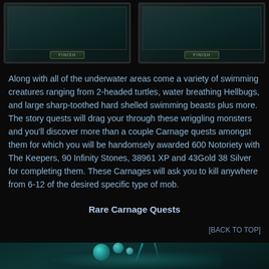[Figure (screenshot): Two game UI screen frames side by side, each with a dark teal/dark background and a 'FINISH' button at the bottom center]
Along with all of the underwater areas come a variety of swimming creatures ranging from 2-headed turtles, water breathing Hellbugs, and large sharp-toothed hard shelled swimming beasts plus more. The story quests will drag your through these wriggling monsters and you'll discover more than a couple Carnage quests amongst them for which you will be handomsely awarded 600 Notoriety with The Keepers, 90 Infinity Stones, 38961 XP and 43Gold 38 Silver for completing them. These Carnages will ask you to kill anywhere from 6-12 of the desired specific type of mob.
Rare Carnage Quests
[BACK TO TOP]
[Figure (screenshot): Bottom portion of an underwater game scene with teal glowing creature or organism visible]